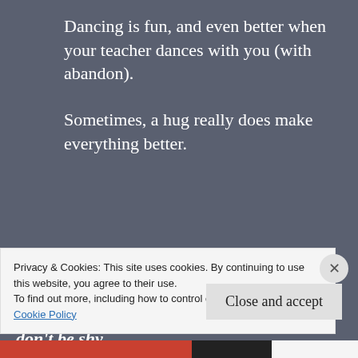Dancing is fun, and even better when your teacher dances with you (with abandon).
Sometimes, a hug really does make everything better.
Now I cannot wait to see what is in store for next year. What are some of your memories from kindergarten? Good, bad, or ugly, don't be shy
Privacy & Cookies: This site uses cookies. By continuing to use this website, you agree to their use.
To find out more, including how to control cookies, see here:
Cookie Policy
Close and accept